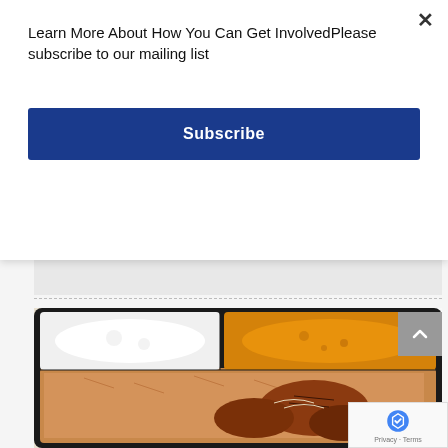Learn More About How You Can Get InvolvedPlease subscribe to our mailing list
×
Subscribe
American Falafel
[Figure (photo): A black compartmentalized food tray containing rice with grilled chicken, a white yogurt/raita sauce, and an orange/yellow curry sauce on a white background.]